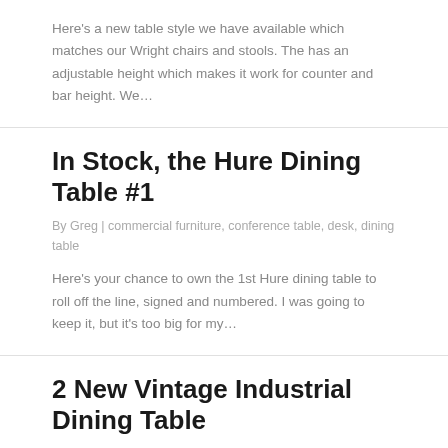Here's a new table style we have available which matches our Wright chairs and stools. The has an adjustable height which makes it work for counter and bar height. We…
In Stock, the Hure Dining Table #1
By Greg | commercial furniture, conference table, desk, dining table
Here's your chance to own the 1st Hure dining table to roll off the line, signed and numbered. I was going to keep it, but it's too big for my…
2 New Vintage Industrial Dining Table